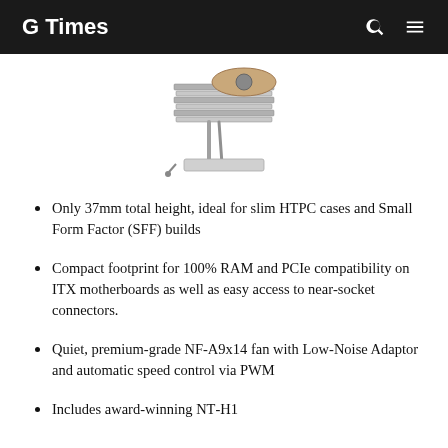G Times
[Figure (photo): Partial photo of a low-profile CPU cooler (Noctua NH-L9 style) showing fins and fan from above, cut off at the top]
Only 37mm total height, ideal for slim HTPC cases and Small Form Factor (SFF) builds
Compact footprint for 100% RAM and PCIe compatibility on ITX motherboards as well as easy access to near-socket connectors.
Quiet, premium-grade NF-A9x14 fan with Low-Noise Adaptor and automatic speed control via PWM
Includes award-winning NT-H1